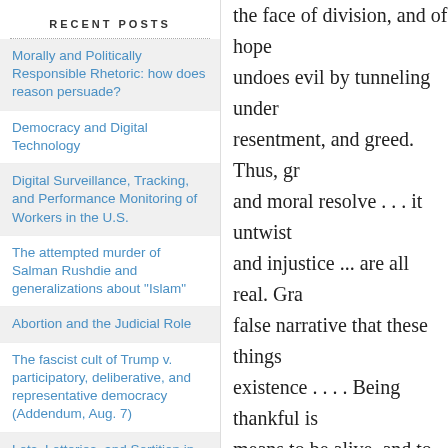RECENT POSTS
Morally and Politically Responsible Rhetoric: how does reason persuade?
Democracy and Digital Technology
Digital Surveillance, Tracking, and Performance Monitoring of Workers in the U.S.
The attempted murder of Salman Rushdie and generalizations about "Islam"
Abortion and the Judicial Role
The fascist cult of Trump v. participatory, deliberative, and representative democracy (Addendum, Aug. 7)
Lots, Lotteries, and Sortition in Law & Politics
the face of division, and of hope undoes evil by tunneling under resentment, and greed. Thus, gr and moral resolve . . . it untwist and injustice ... are all real. Gra false narrative that these things existence . . . . Being thankful i means to be alive, and to know
For Bass, gratitude involves f action in personal and commun
Posted
Reblog (0)
11 / 2
N...